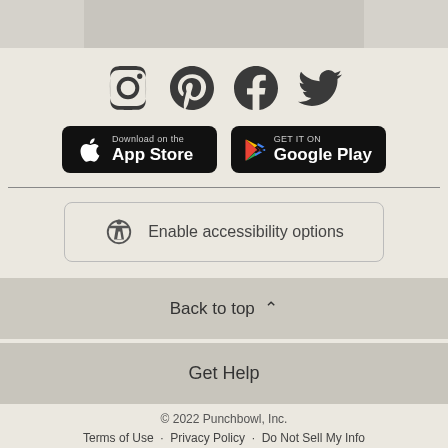[Figure (screenshot): Social media icons: Instagram, Pinterest, Facebook, Twitter]
[Figure (screenshot): App store download buttons: Download on the App Store and Get it on Google Play]
Enable accessibility options
Back to top
Get Help
© 2022 Punchbowl, Inc.
Terms of Use   Privacy Policy   Do Not Sell My Info